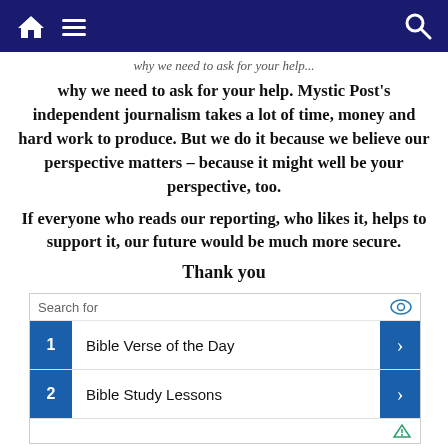Navigation bar with home, menu, and search icons
why we need to ask for your help. Mystic Post's independent journalism takes a lot of time, money and hard work to produce. But we do it because we believe our perspective matters – because it might well be your perspective, too.
If everyone who reads our reporting, who likes it, helps to support it, our future would be much more secure.
Thank you
[Figure (other): Advertisement search widget with 'Search for' header and two results: 1. Bible Verse of the Day, 2. Bible Study Lessons]